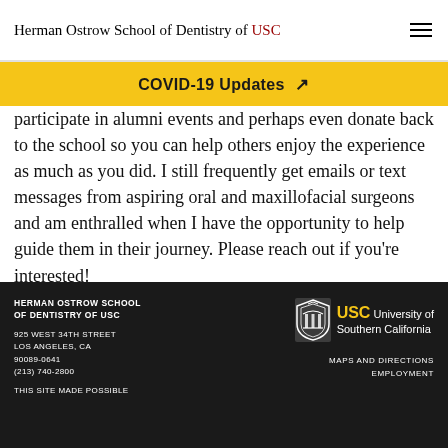Herman Ostrow School of Dentistry of USC
COVID-19 Updates ↗
participate in alumni events and perhaps even donate back to the school so you can help others enjoy the experience as much as you did. I still frequently get emails or text messages from aspiring oral and maxillofacial surgeons and am enthralled when I have the opportunity to help guide them in their journey. Please reach out if you're interested!
HERMAN OSTROW SCHOOL OF DENTISTRY OF USC
925 WEST 34TH STREET
LOS ANGELES, CA
90089-0641
(213) 740-2800
THIS SITE MADE POSSIBLE
MAPS AND DIRECTIONS
EMPLOYMENT